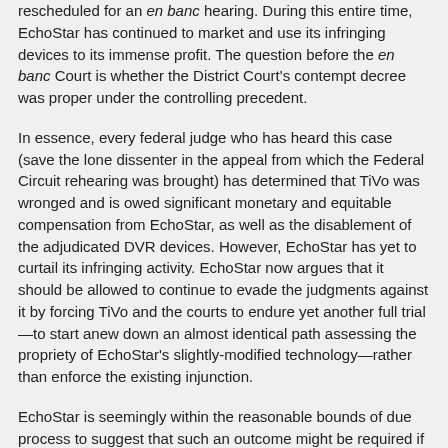rescheduled for an en banc hearing. During this entire time, EchoStar has continued to market and use its infringing devices to its immense profit. The question before the en banc Court is whether the District Court's contempt decree was proper under the controlling precedent.
In essence, every federal judge who has heard this case (save the lone dissenter in the appeal from which the Federal Circuit rehearing was brought) has determined that TiVo was wronged and is owed significant monetary and equitable compensation from EchoStar, as well as the disablement of the adjudicated DVR devices. However, EchoStar has yet to curtail its infringing activity. EchoStar now argues that it should be allowed to continue to evade the judgments against it by forcing TiVo and the courts to endure yet another full trial—to start anew down an almost identical path assessing the propriety of EchoStar's slightly-modified technology—rather than enforce the existing injunction.
EchoStar is seemingly within the reasonable bounds of due process to suggest that such an outcome might be required if its new technology is sufficiently different than its old. But the question is really one of process: who gets to decide if the technology is sufficiently similar—the District Court that heard the original case and issued the original injunction, or